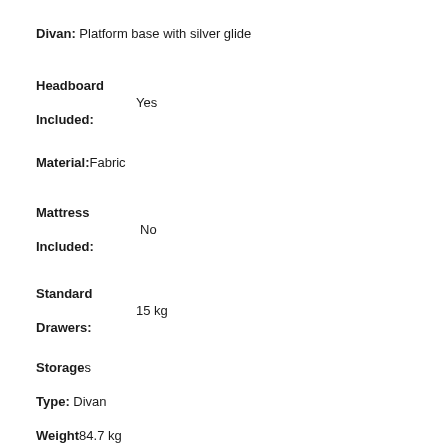Divan: Platform base with silver glide
Headboard Included: Yes
Material: Fabric
Mattress Included: No
Standard Drawers: 15 kg
Storage: s
Type: Divan
Weight: 84.7 kg